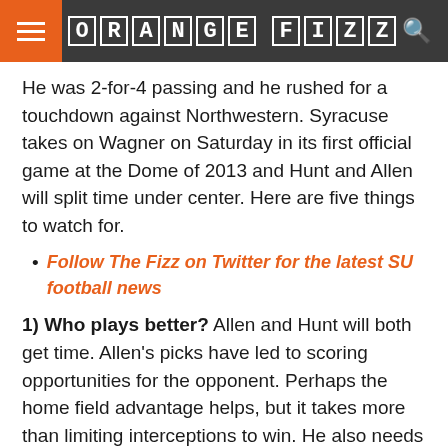ORANGE FIZZ
He was 2-for-4 passing and he rushed for a touchdown against Northwestern. Syracuse takes on Wagner on Saturday in its first official game at the Dome of 2013 and Hunt and Allen will split time under center. Here are five things to watch for.
Follow The Fizz on Twitter for the latest SU football news
1) Who plays better? Allen and Hunt will both get time. Allen's picks have led to scoring opportunities for the opponent. Perhaps the home field advantage helps, but it takes more than limiting interceptions to win. He also needs